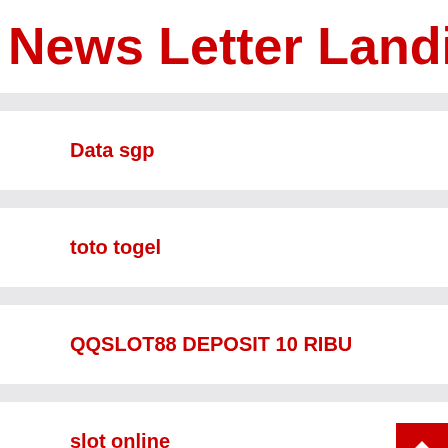News Letter Landing Pag
Data sgp
toto togel
QQSLOT88 DEPOSIT 10 RIBU
slot online